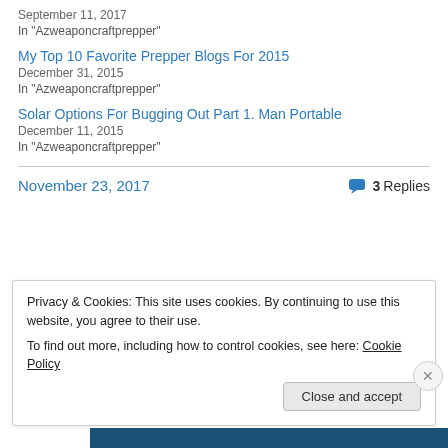September 11, 2017
In "Azweaponcraftprepper"
My Top 10 Favorite Prepper Blogs For 2015
December 31, 2015
In "Azweaponcraftprepper"
Solar Options For Bugging Out Part 1. Man Portable
December 11, 2015
In "Azweaponcraftprepper"
November 23, 2017
3 Replies
Privacy & Cookies: This site uses cookies. By continuing to use this website, you agree to their use.
To find out more, including how to control cookies, see here: Cookie Policy
Close and accept